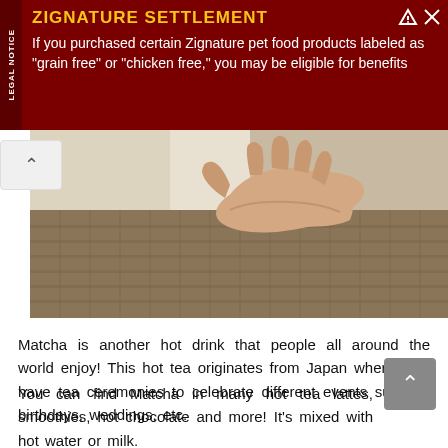[Figure (other): Advertisement banner for Zignature Settlement class action lawsuit with dark red background, yellow title text and white body text. Legal Notice tab on the left side.]
[Figure (photo): Close-up photo of a person's hand cupped upward, wearing a coarse knit sweater, holding or catching something (likely matcha tea).]
Matcha is another hot drink that people all around the world enjoy! This hot tea originates from Japan where they have tea ceremonies to celebrate different events such as birthdays, weddings, etc.
You can find Matcha in many hot tea lattes, smoothies, hot chocolate and more! It's mixed with hot water or milk.